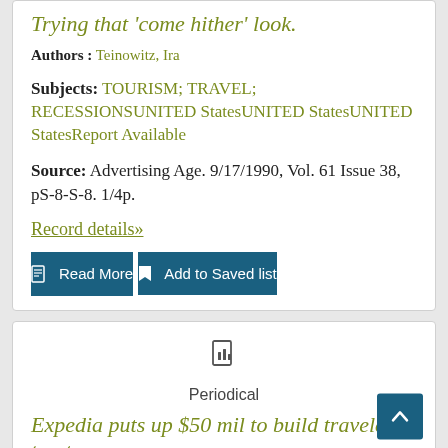Trying that 'come hither' look.
Authors : Teinowitz, Ira
Subjects: TOURISM; TRAVEL; RECESSIONSUNITED StatesUNITED StatesUNITED StatesReport Available
Source: Advertising Age. 9/17/1990, Vol. 61 Issue 38, pS-8-S-8. 1/4p.
Record details»
Read More
Add to Saved list
Periodical
Expedia puts up $50 mil to build travelers' trust.